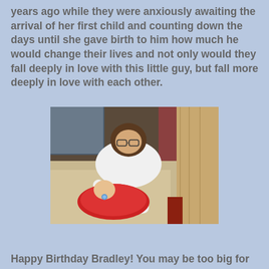years ago while they were anxiously awaiting the arrival of her first child and counting down the days until she gave birth to him how much he would change their lives and not only would they fall deeply in love with this little guy, but fall more deeply in love with each other.
[Figure (photo): A woman with glasses wearing a white long-sleeve shirt sits on a couch holding a baby wrapped in a red blanket with a pacifier, in a living room setting.]
Happy Birthday Bradley! You may be too big for